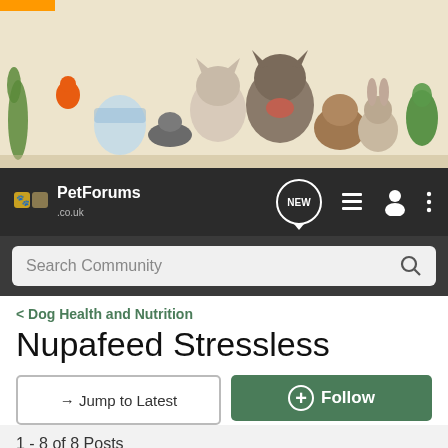[Figure (photo): PetForums.co.uk banner with various pets including a dog, cat, guinea pig, rabbit, fish in bowl, lizard, bird, and snake on a cream background]
PetForums .co.uk NEW
Search Community
< Dog Health and Nutrition
Nupafeed Stressless
→ Jump to Latest
+ Follow
1 - 8 of 8 Posts
Thorne · Registered
Joined May 11, 2009 · 3,914 Posts